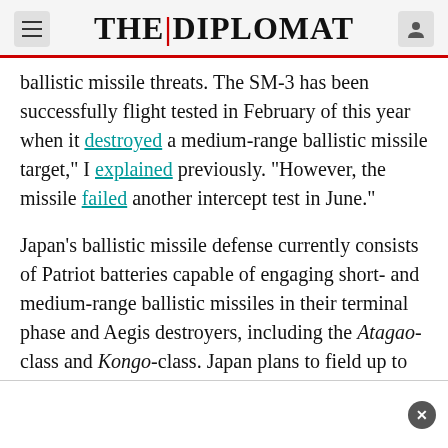THE DIPLOMAT
ballistic missile threats. The SM-3 has been successfully flight tested in February of this year when it destroyed a medium-range ballistic missile target,” I explained previously. “However, the missile failed another intercept test in June.”
Japan’s ballistic missile defense currently consists of Patriot batteries capable of engaging short- and medium-range ballistic missiles in their terminal phase and Aegis destroyers, including the Atagao-class and Kongo-class. Japan plans to field up to eight Aegis-equipped destroyers in the coming years. As I reported last month, in order for a